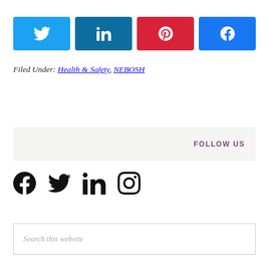[Figure (other): Social share buttons: Twitter (blue), LinkedIn (dark blue), Pinterest (red), Facebook (blue), each with icon]
Filed Under: Health & Safety, NEBOSH
FOLLOW US
[Figure (other): Social media icons: Facebook, Twitter, LinkedIn, Instagram]
Search this website